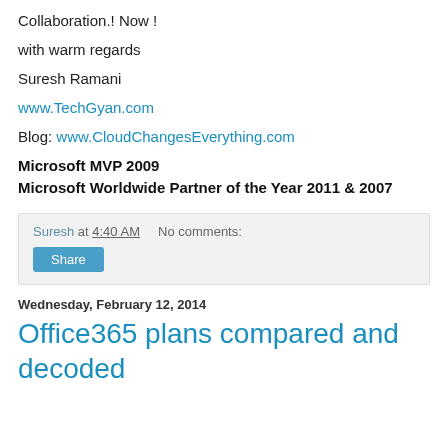Collaboration.! Now !
with warm regards
Suresh Ramani
www.TechGyan.com
Blog: www.CloudChangesEverything.com
Microsoft MVP 2009
Microsoft Worldwide Partner of the Year 2011 & 2007
Suresh at 4:40 AM    No comments:
Share
Wednesday, February 12, 2014
Office365 plans compared and decoded